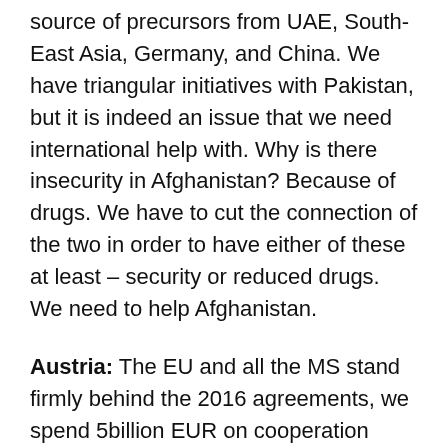source of precursors from UAE, South-East Asia, Germany, and China. We have triangular initiatives with Pakistan, but it is indeed an issue that we need international help with. Why is there insecurity in Afghanistan? Because of drugs. We have to cut the connection of the two in order to have either of these at least – security or reduced drugs. We need to help Afghanistan.
Austria: The EU and all the MS stand firmly behind the 2016 agreements, we spend 5billion EUR on cooperation packages in the area and we fully are committed to work along this.
Pakistan: There are transit agreements mentioned between the two countries that l